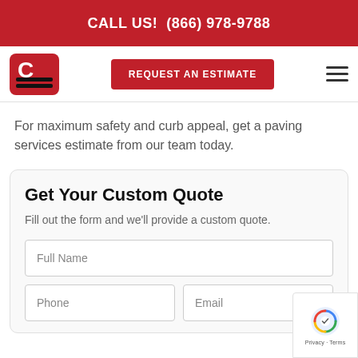CALL US!  (866) 978-9788
[Figure (logo): Paving company logo with stylized red and black road/letter C icon]
REQUEST AN ESTIMATE
For maximum safety and curb appeal, get a paving services estimate from our team today.
Get Your Custom Quote
Fill out the form and we'll provide a custom quote.
Full Name
Phone
Email